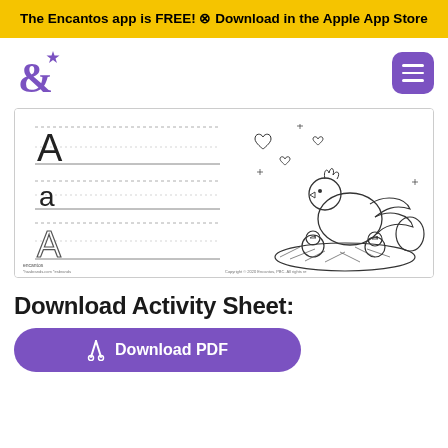The Encantos app is FREE! ⊗ Download in the Apple App Store
[Figure (logo): Encantos ampersand logo in purple with a star]
[Figure (illustration): Worksheet showing uppercase A, lowercase a, and outline A for tracing, with a hen and chicks coloring page illustration on the right]
Download Activity Sheet:
[Figure (other): Purple Download PDF button with scissors icon]